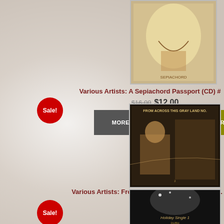[Figure (photo): Album cover thumbnail for A Sepiachord Passport (CD), top right area]
Various Artists: A Sepiachord Passport (CD) #
$16.00 $12.00
Sale!
MORE DETAILS
ADD ITEM TO CART
[Figure (photo): Album cover thumbnail for From Across This Gray Land No. 2, dark sepia photo of person seated]
Various Artists: From Across This Gray Land No. 2 (
$16.00 $12.00
Sale!
[Figure (photo): Album cover thumbnail bottom, dark glamour photo with text 'Holiday Single 1']